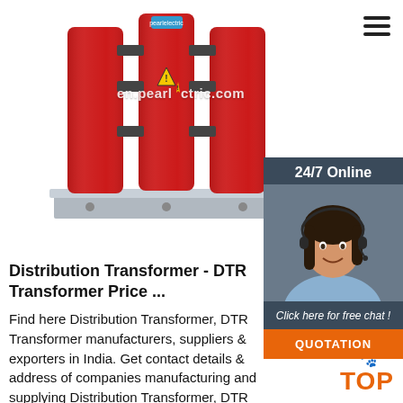[Figure (photo): Three red cylindrical dry-type distribution transformers mounted on a grey metal base plate, viewed from the front. Chinese manufacturer logo visible on top.]
en.pearlelectric.com
[Figure (photo): Customer service representative wearing headset, smiling, with dark hair. Shown in a dark teal chat widget overlay with '24/7 Online' header, 'Click here for free chat!' text, and orange QUOTATION button.]
Distribution Transformer - DTR Transformer Price ...
Find here Distribution Transformer, DTR Transformer manufacturers, suppliers & exporters in India. Get contact details & address of companies manufacturing and supplying Distribution Transformer, DTR Transformer, Power Distribution